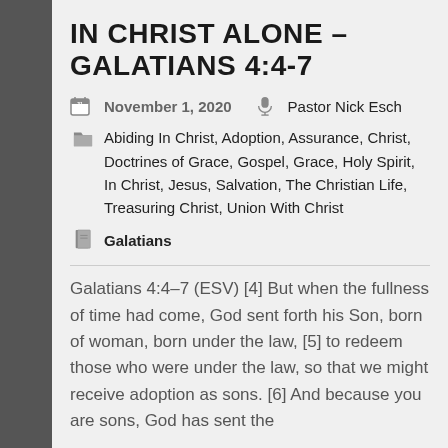IN CHRIST ALONE – GALATIANS 4:4-7
November 1, 2020   Pastor Nick Esch
Abiding In Christ, Adoption, Assurance, Christ, Doctrines of Grace, Gospel, Grace, Holy Spirit, In Christ, Jesus, Salvation, The Christian Life, Treasuring Christ, Union With Christ
Galatians
Galatians 4:4–7 (ESV) [4] But when the fullness of time had come, God sent forth his Son, born of woman, born under the law, [5] to redeem those who were under the law, so that we might receive adoption as sons. [6] And because you are sons, God has sent the